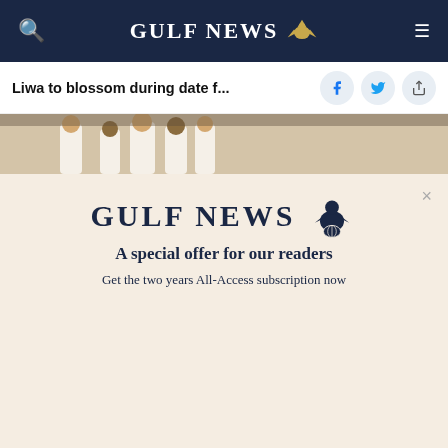GULF NEWS
Liwa to blossom during date f...
[Figure (photo): Photo of men in traditional Emirati dress at an indoor event]
[Figure (logo): Gulf News logo with eagle emblem and special offer modal]
A special offer for our readers
Get the two years All-Access subscription now
This website stores cookies on your computer. These cookies are used to improve your experience and provide more personalized service to you. Both on your website and other media. To find out more about the cookies and data we use, please check out our Privacy Policy.